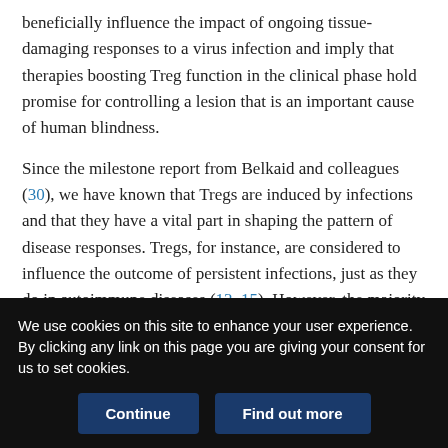beneficially influence the impact of ongoing tissue-damaging responses to a virus infection and imply that therapies boosting Treg function in the clinical phase hold promise for controlling a lesion that is an important cause of human blindness.
Since the milestone report from Belkaid and colleagues (30), we have known that Tregs are induced by infections and that they have a vital part in shaping the pattern of disease responses. Tregs, for instance, are considered to influence the outcome of persistent infections, just as they do in autoimmune diseases (13, 15). However, the majority of studies that implicate Tregs during an infectious disease either compared the outcome of disease in animals depleted of Tregs from the onset with that in controls, or
We use cookies on this site to enhance your user experience. By clicking any link on this page you are giving your consent for us to set cookies.